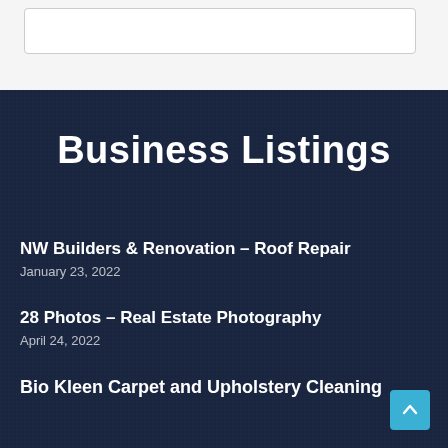Business Listings
NW Builders & Renovation – Roof Repair
January 23, 2022
28 Photos – Real Estate Photography
April 24, 2022
Bio Kleen Carpet and Upholstery Cleaning